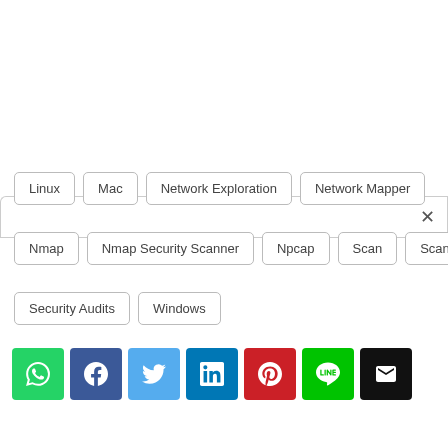[Figure (screenshot): Modal/popup search bar with a close (X) button on the right side]
Linux
Mac
Network Exploration
Network Mapper
Nmap
Nmap Security Scanner
Npcap
Scan
Scanner
Security Audits
Windows
[Figure (screenshot): Row of social share buttons: WhatsApp (green), Facebook (dark blue), Twitter (light blue), LinkedIn (blue), Pinterest (red), LINE (green), Email (black)]